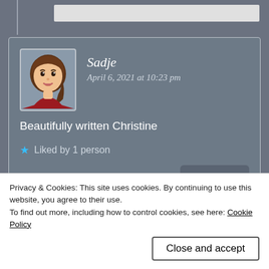[Figure (screenshot): Partial view of a blog comment section showing top of a comment with white rectangle and vertical line]
Sadje
April 6, 2021 at 10:23 pm
Beautifully written Christine
★ Liked by 1 person
Reply
Christine Bolton
Privacy & Cookies: This site uses cookies. By continuing to use this website, you agree to their use.
To find out more, including how to control cookies, see here: Cookie Policy
Close and accept